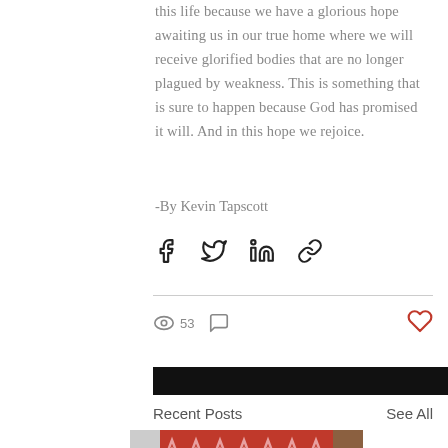this life because we have a glorious hope awaiting us in our true home where we will receive glorified bodies that are no longer plagued by weakness. This is something that is sure to happen because God has promised it will. And in this hope we rejoice.
-By Kevin Tapscott
[Figure (infographic): Social share icons: Facebook, Twitter, LinkedIn, and link/chain icon]
[Figure (infographic): Stats row: eye icon with 53 views, comment bubble icon, heart/like icon in red on the right]
Recent Posts
See All
[Figure (photo): Thumbnails row: gray thumbnail, red zigzag pattern photo, partial brown thumbnail]